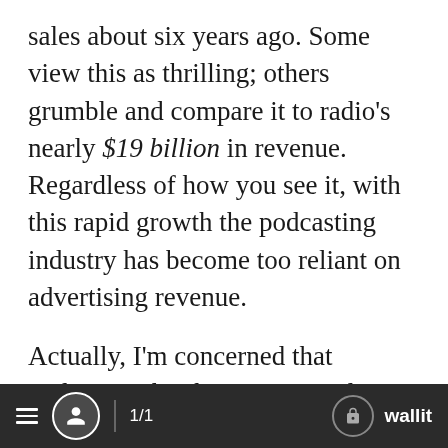sales about six years ago. Some view this as thrilling; others grumble and compare it to radio's nearly $19 billion in revenue. Regardless of how you see it, with this rapid growth the podcasting industry has become too reliant on advertising revenue.
Actually, I'm concerned that podcasting has become too reliant on one source of revenue. In addition to being foolishly imprudent, overdependence on one source of revenue also creates a risk-averse culture of sameness and an artificial ceiling for ambition.
1/1   wallit